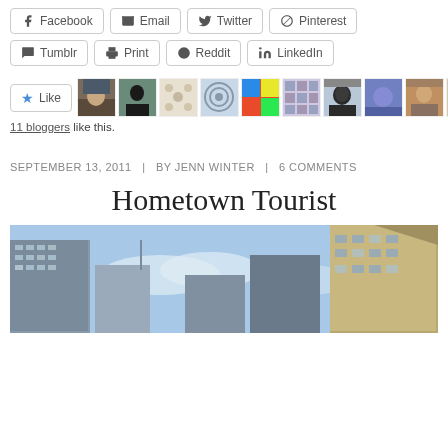Facebook | Email | Twitter | Pinterest
Tumblr | Print | Reddit | LinkedIn
[Figure (other): Social like button with star icon and 9 blogger avatar thumbnails]
11 bloggers like this.
SEPTEMBER 13, 2011  |  BY JENN WINTER  |  6 COMMENTS
Hometown Tourist
[Figure (photo): Urban city skyline photo looking upward at tall buildings against a blue sky with clouds]